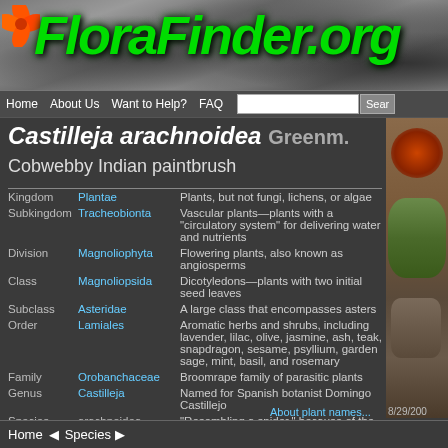FloraFinder.org
Home | About Us | Want to Help? | FAQ | Search
Castilleja arachnoidea Greenm.
Cobwebby Indian paintbrush
|  |  |  |
| --- | --- | --- |
| Kingdom | Plantae | Plants, but not fungi, lichens, or algae |
| Subkingdom | Tracheobionta | Vascular plants—plants with a "circulatory system" for delivering water and nutrients |
| Division | Magnoliophyta | Flowering plants, also known as angiosperms |
| Class | Magnoliopsida | Dicotyledons—plants with two initial seed leaves |
| Subclass | Asteridae | A large class that encompasses asters |
| Order | Lamiales | Aromatic herbs and shrubs, including lavender, lilac, olive, jasmine, ash, teak, snapdragon, sesame, psyllium, garden sage, mint, basil, and rosemary |
| Family | Orobanchaceae | Broomrape family of parasitic plants |
| Genus | Castilleja | Named for Spanish botanist Domingo Castillejo |
| Species | arachnoidea | "Resembling a spider," because of the cobweb-like hairs |
About plant names...
8/29/200
[Figure (photo): Photo of Castilleja arachnoidea plant]
Home | Species